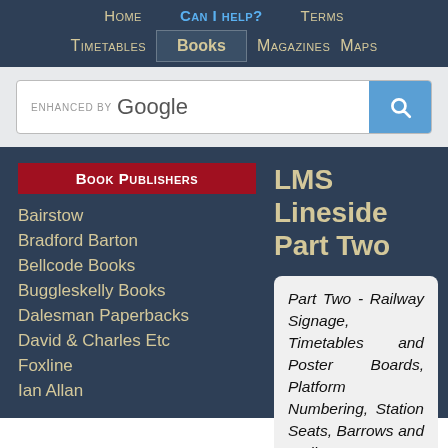Home  Can I help?  Terms  Timetables  Books  Magazines  Maps
[Figure (screenshot): Google search bar enhanced by Google with blue search button]
Book Publishers
Bairstow
Bradford Barton
Bellcode Books
Buggleskelly Books
Dalesman Paperbacks
David & Charles Etc
Foxline
Ian Allan
LMS Lineside Part Two
Part Two - Railway Signage, Timetables and Poster Boards, Platform Numbering, Station Seats, Barrows and Trolleys